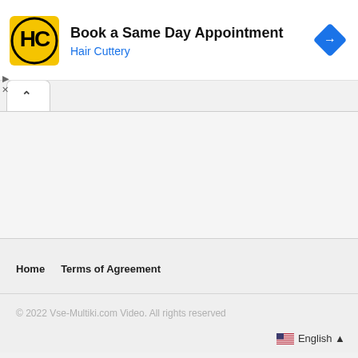[Figure (screenshot): Hair Cuttery advertisement banner with yellow logo, title 'Book a Same Day Appointment', subtitle 'Hair Cuttery', and a blue diamond navigation icon on the right]
[Figure (screenshot): Browser tab bar showing an active white tab with a chevron/up arrow icon]
[Figure (screenshot): Main content area - empty light gray area]
Home   Terms of Agreement
© 2022 Vse-Multiki.com Video. All rights reserved
English ▲